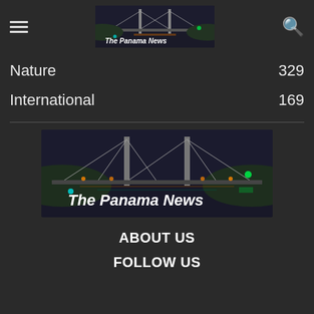The Panama News
Nature 329
International 169
[Figure (logo): The Panama News logo with night bridge background]
ABOUT US
FOLLOW US